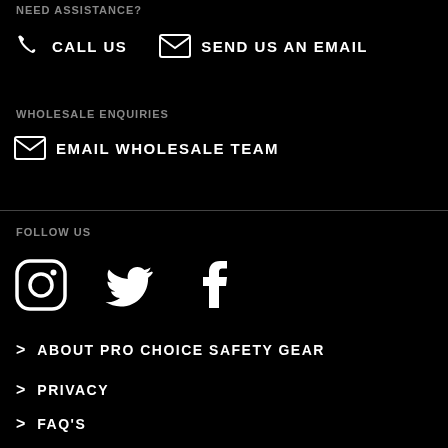NEED ASSISTANCE?
CALL US   SEND US AN EMAIL
WHOLESALE ENQUIRIES
EMAIL WHOLESALE TEAM
FOLLOW US
[Figure (infographic): Social media icons: Instagram, Twitter, Facebook]
> ABOUT PRO CHOICE SAFETY GEAR
> PRIVACY
> FAQ'S